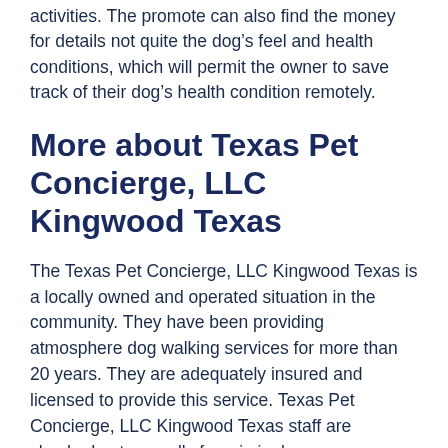activities. The promote can also find the money for details not quite the dog's feel and health conditions, which will permit the owner to save track of their dog's health condition remotely.
More about Texas Pet Concierge, LLC Kingwood Texas
The Texas Pet Concierge, LLC Kingwood Texas is a locally owned and operated situation in the community. They have been providing atmosphere dog walking services for more than 20 years. They are adequately insured and licensed to provide this service. Texas Pet Concierge, LLC Kingwood Texas staff are checked out annually for criminal